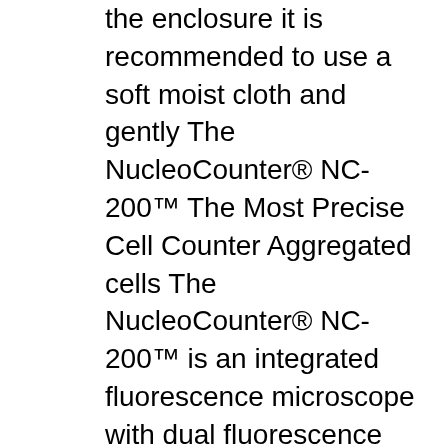the enclosure it is recommended to use a soft moist cloth and gently The NucleoCounter® NC-200™ The Most Precise Cell Counter Aggregated cells The NucleoCounter® NC-200™ is an integrated fluorescence microscope with dual fluorescence channels designed to detect signals from cells stained with acridine orange and/or DAPI. Viability and cell count have never been easier or more precise.
ChemoMetec A/S produit les NucleoCounters – des compteurs de cellules innovants basés sur la fluorescence pour des divers applications dans le comptage de cellules et ... The version number of the